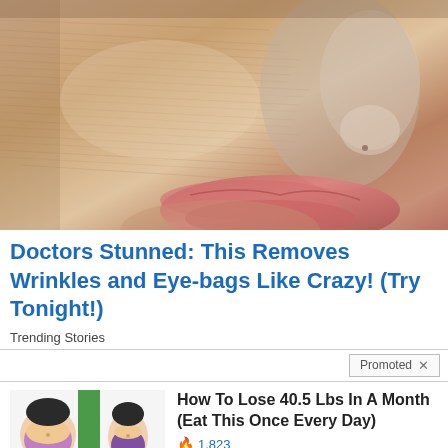[Figure (photo): Close-up of a human face with severely dry, wrinkled skin showing texture lines across cheek and nose area, with lips visible at bottom right]
Doctors Stunned: This Removes Wrinkles and Eye-bags Like Crazy! (Try Tonight!)
Trending Stories
Promoted X
[Figure (illustration): Cartoon illustration showing two female figures in bikinis, depicting before and after weight loss]
How To Lose 40.5 Lbs In A Month (Eat This Once Every Day)
🔥 1,823
[Figure (photo): Photo of a person pressing hands on chest/heart area, with one hand appearing reddish]
4 Warning Signs Of Dementia (#2 Is Scary)
🔥 16,909